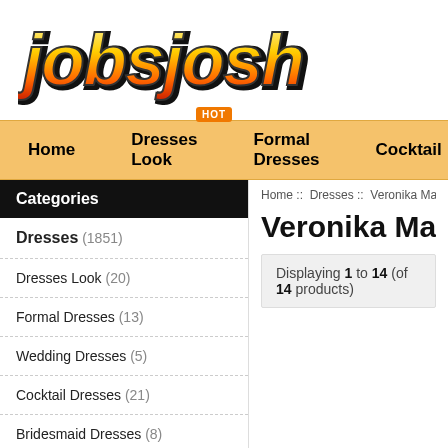[Figure (logo): Jobsjosh logo with stylized fire/graffiti text in yellow, red and black]
Home   Dresses Look   Formal Dresses   Cocktail
Home :: Dresses :: Veronika Maine Dresses
Veronika Maine Dresses
Categories
Dresses (1851)
Dresses Look (20)
Formal Dresses (13)
Wedding Dresses (5)
Cocktail Dresses (21)
Bridesmaid Dresses (8)
Forever New Dresses (23)
Displaying 1 to 14 (of 14 products)